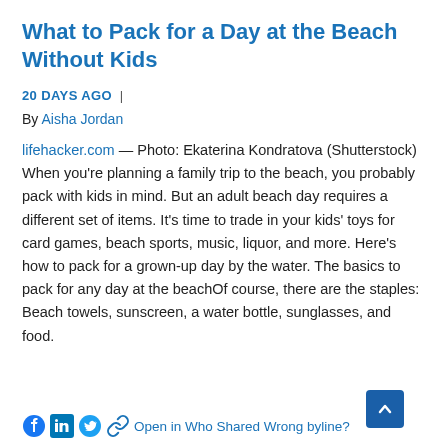What to Pack for a Day at the Beach Without Kids
20 DAYS AGO  |  By Aisha Jordan
lifehacker.com — Photo: Ekaterina Kondratova (Shutterstock) When you're planning a family trip to the beach, you probably pack with kids in mind. But an adult beach day requires a different set of items. It's time to trade in your kids' toys for card games, beach sports, music, liquor, and more. Here's how to pack for a grown-up day by the water. The basics to pack for any day at the beachOf course, there are the staples: Beach towels, sunscreen, a water bottle, sunglasses, and food.
Open in Who Shared Wrong byline?